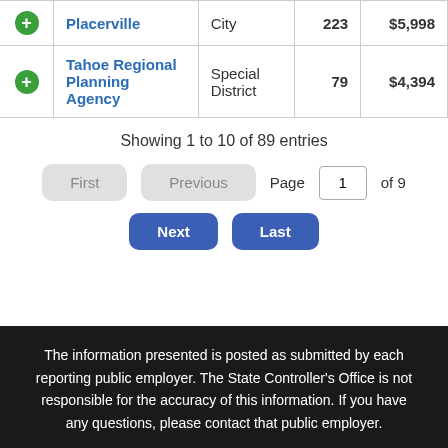|  | Name | Type | Count | Salary |
| --- | --- | --- | --- | --- |
| + | Placerville | City | 223 | $5,998 |
| + | Tahoe Regional Planning Agency | Special District | 79 | $4,394 |
Showing 1 to 10 of 89 entries
First  Previous  Page 1 of 9  Next  Last
The information presented is posted as submitted by each reporting public employer. The State Controller's Office is not responsible for the accuracy of this information. If you have any questions, please contact that public employer.